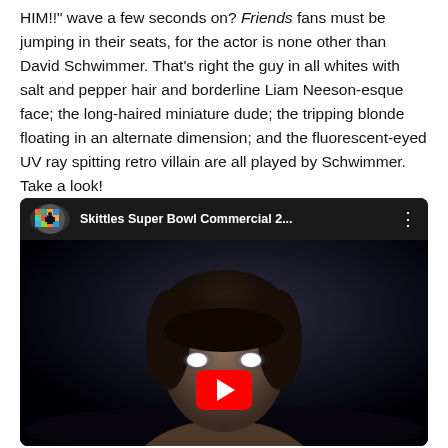HIM!!" wave a few seconds on? Friends fans must be jumping in their seats, for the actor is none other than David Schwimmer. That's right the guy in all whites with salt and pepper hair and borderline Liam Neeson-esque face; the long-haired miniature dude; the tripping blonde floating in an alternate dimension; and the fluorescent-eyed UV ray spitting retro villain are all played by Schwimmer. Take a look!
[Figure (screenshot): Embedded YouTube video player showing Skittles Super Bowl Commercial 2... with a person with glowing white eyes visible in the video thumbnail, and a red play button centered at the bottom of the video.]